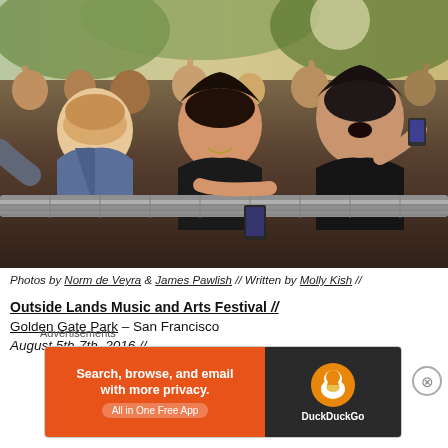[Figure (photo): Concert crowd photo — excited festival-goers leaning over a metal barrier, arms raised, at what appears to be an outdoor music festival in daylight. Several young people are prominently featured, smiling and cheering.]
Photos by Norm de Veyra & James Pawlish // Written by Molly Kish //
Outside Lands Music and Arts Festival //
Golden Gate Park – San Francisco
August 5th-7th, 2016 //
Advertisements
[Figure (screenshot): DuckDuckGo advertisement banner: orange left panel with text 'Search, browse, and email with more privacy. All in One Free App', dark right panel with DuckDuckGo logo duck icon and brand name.]